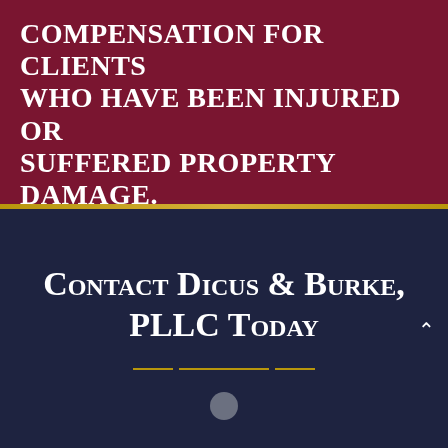COMPENSATION FOR CLIENTS WHO HAVE BEEN INJURED OR SUFFERED PROPERTY DAMAGE.
Contact Dicus & Burke, PLLC Today